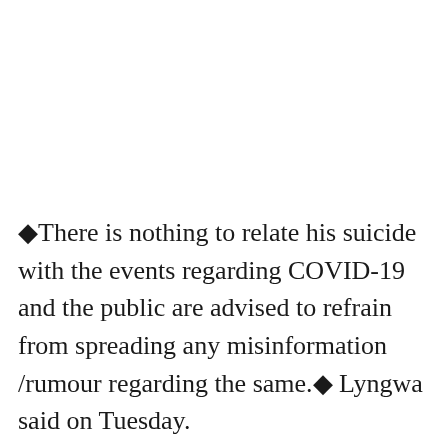◆There is nothing to relate his suicide with the events regarding COVID-19 and the public are advised to refrain from spreading any misinformation /rumour regarding the same.◆ Lyngwa said on Tuesday.